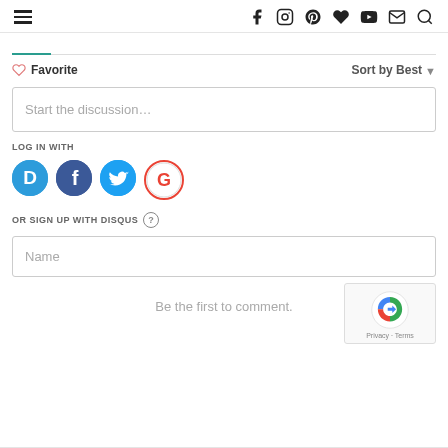Navigation header with hamburger menu and social/search icons
Favorite   Sort by Best
Start the discussion…
LOG IN WITH
[Figure (infographic): Social login buttons: Disqus (blue D), Facebook (dark blue f), Twitter (light blue bird), Google (red G)]
OR SIGN UP WITH DISQUS ?
Name
Be the first to comment.
[Figure (logo): reCAPTCHA logo with Privacy - Terms links]